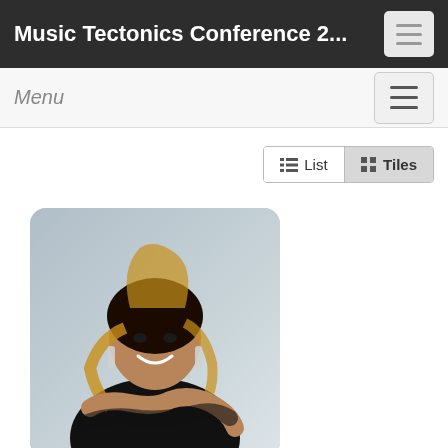Music Tectonics Conference 2...
Menu
[Figure (photo): Profile photo of KK Hart, a smiling woman with blonde highlights in her hair, wearing a black sleeveless top, arms crossed, against a light grey background]
KK Hart
President & CEO
Follow your HART LLC. & HART Marketing & Communications INC.